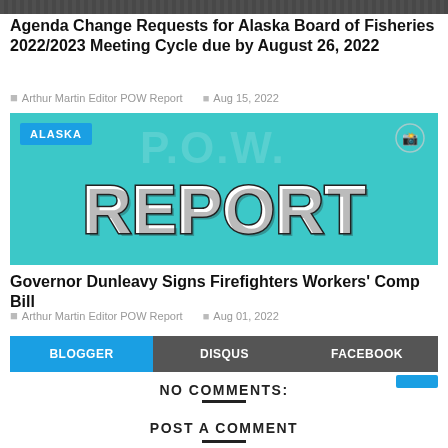[Figure (photo): Top strip of a photo, partially visible at the top of the page]
Agenda Change Requests for Alaska Board of Fisheries 2022/2023 Meeting Cycle due by August 26, 2022
Arthur Martin Editor POW Report  Aug 15, 2022
[Figure (photo): POW Report magazine cover image with teal background showing large bold text 'REPORT' and 'ALASKA' label badge. A camera icon appears in the top right corner.]
Governor Dunleavy Signs Firefighters Workers' Comp Bill
Arthur Martin Editor POW Report  Aug 01, 2022
BLOGGER  DISQUS  FACEBOOK
NO COMMENTS:
POST A COMMENT